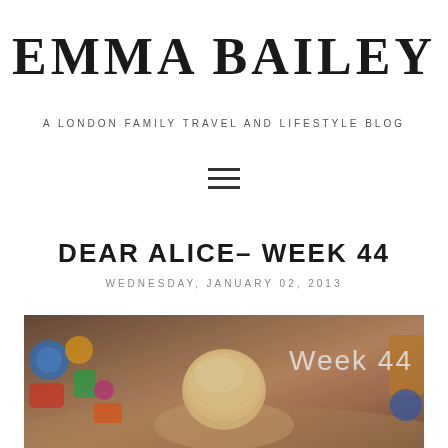EMMA BAILEY
A LONDON FAMILY TRAVEL AND LIFESTYLE BLOG
[Figure (other): Hamburger menu icon (three horizontal lines)]
DEAR ALICE– WEEK 44
WEDNESDAY, JANUARY 02, 2013
[Figure (photo): Photo of a baby looking down at a book or mat, surrounded by colorful toys, with 'Week 44' text overlaid in white in the upper right corner. Photo has warm, vintage tones.]